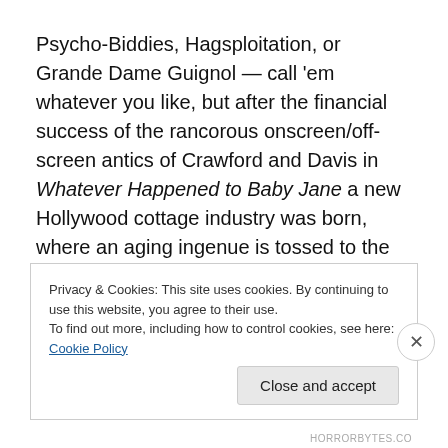Psycho-Biddies, Hagsploitation, or Grande Dame Guignol — call 'em whatever you like, but after the financial success of the rancorous onscreen/off-screen antics of Crawford and Davis in Whatever Happened to Baby Jane a new Hollywood cottage industry was born, where an aging ingenue is tossed to the wolves in some over-cooked and warped psychological thriller — with plenty of available scenery to sink their teeth into. And as far as they go, this one is actually pretty good with a rock-solid performances by de Havilland as our trapped spinster and
Privacy & Cookies: This site uses cookies. By continuing to use this website, you agree to their use.
To find out more, including how to control cookies, see here: Cookie Policy
Close and accept